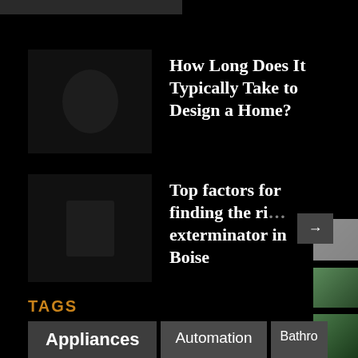[Figure (photo): Partial top image strip at very top of page]
How Long Does It Typically Take to Design a Home?
Top factors for finding the right exterminator in Boise
TAGS
Appliances
Automation
Bathroom
Business
Cleaning Services
D
Doors & Windows
Electrician
F
Furniture
Gardening
[Figure (photo): Person with cleaning equipment in hallway]
[Figure (photo): Aerial view of flooded road]
[Figure (photo): Hands holding small house model]